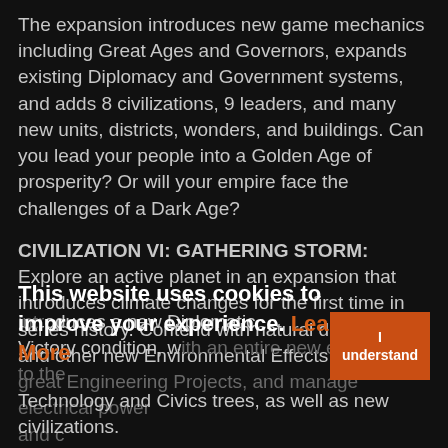The expansion introduces new game mechanics including Great Ages and Governors, expands existing Diplomacy and Government systems, and adds 8 civilizations, 9 leaders, and many new units, districts, wonders, and buildings. Can you lead your people into a Golden Age of prosperity? Or will your empire face the challenges of a Dark Age?
CIVILIZATION VI: GATHERING STORM: Explore an active planet in an expansion that introduces climate changes for the first time in series history. Contend with natural disasters and other new Environmental Effects, complete great Engineering Projects, and manage electrical power and consumable resources. Gathering Storm also introduces a new Diplomatic Victory and a new Diplomatic Victory condition, with an entire new era added to the Technology and Civics trees, as well as new civilizations.
This website uses cookies to improve your experience. Learn More